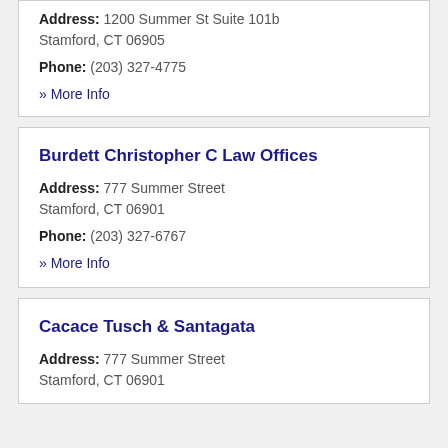Address: 1200 Summer St Suite 101b
Stamford, CT 06905
Phone: (203) 327-4775
» More Info
Burdett Christopher C Law Offices
Address: 777 Summer Street
Stamford, CT 06901
Phone: (203) 327-6767
» More Info
Cacace Tusch & Santagata
Address: 777 Summer Street
Stamford, CT 06901